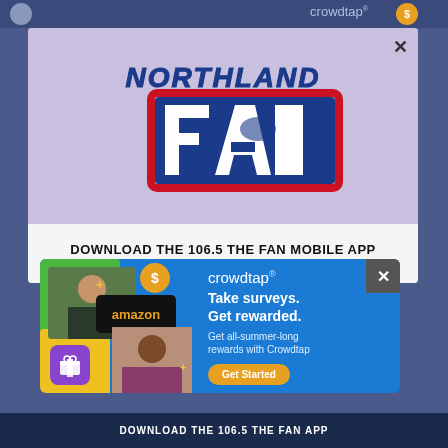[Figure (screenshot): Screenshot of a web page with a Northland FAN radio station modal popup overlaying a Crowdtap website. The modal shows the Northland FAN logo with text 'DOWNLOAD THE 106.5 THE FAN MOBILE APP'. A Crowdtap ad banner is visible at the bottom with text 'Take surveys. Get rewarded. Get all-summer-long rewards with Crowdtap' and a 'Get Started' button.]